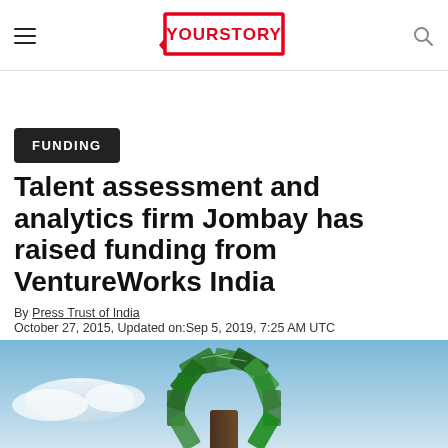YOURSTORY
FUNDING
Talent assessment and analytics firm Jombay has raised funding from VentureWorks India
By Press Trust of India
October 27, 2015, Updated on:Sep 5, 2019, 7:25 AM UTC
[Figure (photo): A tree made of $100 US dollar bills against a blue sky backdrop, representing funding/money growth.]